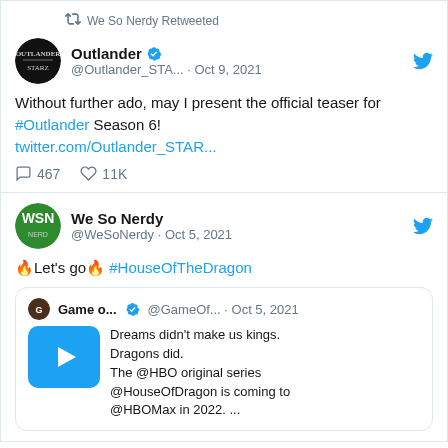We So Nerdy Retweeted
Outlander @Outlander_STA... · Oct 9, 2021
Without further ado, may I present the official teaser for #Outlander Season 6! twitter.com/Outlander_STAR...
467 comments 11K likes
We So Nerdy @WeSoNerdy · Oct 5, 2021
🔥Let's go🔥 #HouseOfTheDragon
Game o... @GameOf... · Oct 5, 2021 — Dreams didn't make us kings. Dragons did. The @HBO original series @HouseOfDragon is coming to @HBOMax in 2022. ...